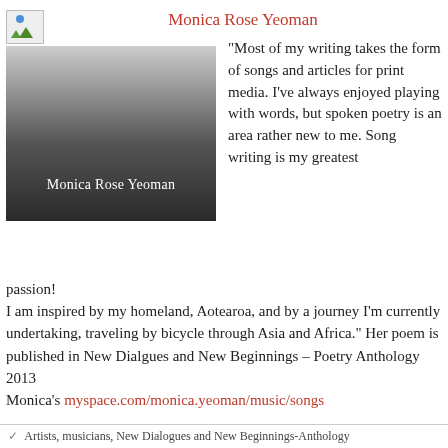[Figure (photo): Broken image icon placeholder (small landscape icon with blue dot and green mountain/lines)]
Monica Rose Yeoman
[Figure (photo): Grayscale gradient photo box with caption 'Monica Rose Yeoman' in white text on dark gradient background]
“Most of my writing takes the form of songs and articles for print media. I’ve always enjoyed playing with words, but spoken poetry is an area rather new to me. Song writing is my greatest passion! I am inspired by my homeland, Aotearoa, and by a journey I’m currently undertaking, traveling by bicycle through Asia and Africa.” Her poem is published in New Dialgues and New Beginnings – Poetry Anthology 2013
Monica’s myspace.com/monica.yeoman/music/songs
Artists, musicians, New Dialogues and New Beginnings-Anthology